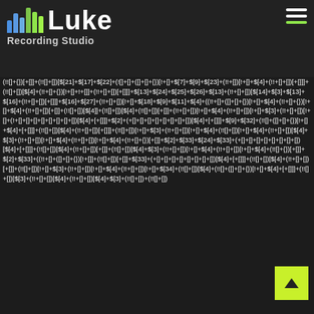[Figure (logo): Luke Recording Studio logo with colorful bar chart icon and white text on dark background]
(!![]+[])[+!+[]]+(!![]+[])[!+[]+!+[]+!+[]]+(!![]+[])[+[]]+([][[]]+[])[+[]]+$[4]+$[9]+$[11]+$[12]+$[2]+$[13]+$[14]+(+[][]+[])[!+[]+!+[]+!+[]]+$[15]+$[15]+(+![]+![]+[!+[]+!+[]]+(!![]+[])[!+[]+!+[]+!+[]]+$[1]+(!![]=+[])[!+[]+!+[]+!+[]]+([]+[]+[][[]])[+!+[]]+$[4]+$((!![]+[])[!+[]+!+[]+!+[]]+(![]+[])[+[]]+$[7]+$[9]+$[4]+(!![]+[]+([]+[]+{})[!+[]+!+[]+!+[]]+$[11]+$[6]+$[6]+(![]+[]+![]+[]+([]+[]+{})[!+[]+!+[]+!+[]])[!+[]+!+[]+$[4]+(!![]+[]+[]+([]+[]+{})[!+[]+!+[]]+$[11]+$[6]+(![]+[]+{})[+!+[]]+$[3]+(!!+[]+[])[!+[]+$[4]+$[10]+(!!+[]+[])[!+[]+(!![]+[])[+[]]]+$[20]+(!!+[]+[])[+[]+![]+!+[]]+(!!+[]+[])[!+[]+$[3]+(!!+[]+[])[!+[]+(!![]+{})[+[]]+(!![]+[])[$[21]+$[17]+$[22]+(![]+[]+([]+[]+{})[!+[]+$[7]+$[9]+$[23]+(!!+[])[!+[]+$[4]+(!!+[]+[])[+[]]]+$[13]+$[24]+$[25]+$[26]+$[13]+(!!+[]+[])[$[14]+$[3]+$[13]+$[16]+(!!+[]+[])[+[]]]+$[16]+$[27]+(!!+[]+[])[!+[]+$[18]+$[9]+$[11]+$[4]+((!!+[]+([]+[]+{})[!+[]+$[4]+(!!+[]+[])[+[]]]+(!![]+[])[!+[]+$[4]+(!!+[]+[])[+[]]]+$[28]+$[29]+$[30]+$[31]+(+[]+[]+[]+[]+[]+[]+[]+[])[$[4]+[+[]]]+$[2]+(+[]+[]+[]+[]+[]+[]+[]+[])[$[4]+[+[]]]+$[9]+$[32]+((!!+[]+([]+[]+{})[!+[]+$[4]+[+[]]]+(!![]+[])[$[4]]+(!![]+[])[$[4]+(!![]+[])[!+[]]+(!![]+[])[$[3]+(!!+[]+[])[!+[]+(!+[]+[]+[]+[]+[]+[]+[]+[])[$[4]+[+[]]]+(!![]+[]+(!![]+[])[$[4]+(![]+[]+(!![]+[])[$[4]+(!![]+[])[$[2]+$[33]+$[24]+$[33]+(+[]+[]+[]+[]+[]+[]+[]+[])[$[4]+[+[]]]+(!![]+[])[$[4]]+(!![]+[])[$[4]+$[3]+(!!+[]+[])[!+[]+$[4]+(!!+[]+[])[!+[]+$[4]+(!!+[]+{})[+[]]+$[2]+$[33]+((!!+[]+([]+[]+{})[!+[]]+(!![]+[])[+[]]+$[33]+(+[]+[]+[]+[]+[]+[]+[]+[])[$[4]+[+[]]]+(!![]+[])[$[4]+(!!+[]+[])[+[]]]+(!![]+[])[!+[]+$[3]+(!!+[]+[])[!+[]+$[4]+(!!+[]+[])[!+[]+$[34]+(!![]+[])[$[4]+(!!+[]+([]+[]+{})[!+[]+$[4]+[+[]]]+(!![]+[])[$[3]+(!!+[]+[])[$[4]+(!!+[]+[])[$[4]+$[3]+(!![]+[])+(!![+[]])))[$[4]+[+[]]]
[Figure (other): Scroll to top button with lime/yellow-green background and upward arrow]